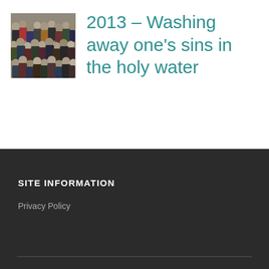[Figure (photo): Aerial crowd photo showing many people gathered together]
2013 – Washing away one's sins in the holy water
SITE INFORMATION
Privacy Policy